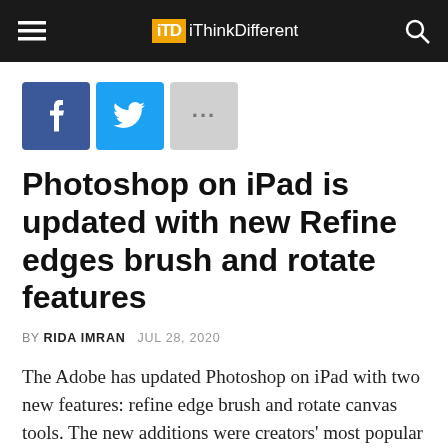iThinkDifferent
[Figure (other): Social share buttons: Facebook, Twitter, More (...)]
Photoshop on iPad is updated with new Refine edges brush and rotate features
BY RIDA IMRAN   JUL 28, 2020
The Adobe has updated Photoshop on iPad with two new features: refine edge brush and rotate canvas tools. The new additions were creators' most popular demands which have finally arrived on the editing platform. Users will see the update in the App Store.
Photoshop on iPad is a great creative tool to get